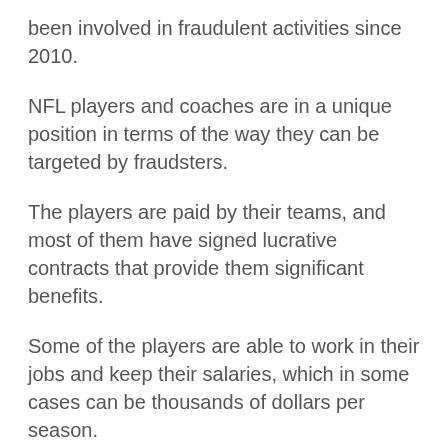been involved in fraudulent activities since 2010.
NFL players and coaches are in a unique position in terms of the way they can be targeted by fraudsters.
The players are paid by their teams, and most of them have signed lucrative contracts that provide them significant benefits.
Some of the players are able to work in their jobs and keep their salaries, which in some cases can be thousands of dollars per season.
However, players are also susceptible to the schemes because of their size, age and lack of experience.
The owners of the teams can be among the most powerful people in sports.
NFLPA Executive Director DeMaurice Smith said players are often overlooked because of how many